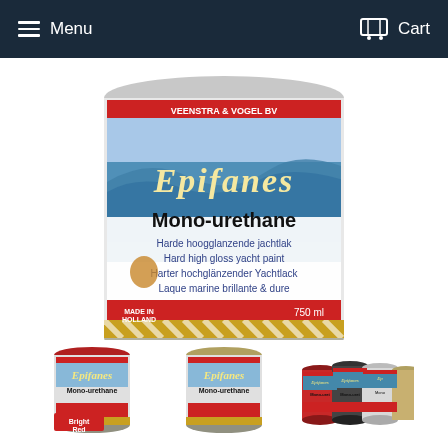Menu | Cart
[Figure (photo): Large can of Epifanes Mono-urethane hard high gloss yacht paint, 750ml, showing ocean wave label design with text in Dutch, English, German and French]
[Figure (photo): Thumbnail of Epifanes Mono-urethane can with Bright Red label]
[Figure (photo): Thumbnail of Epifanes Mono-urethane can]
[Figure (photo): Thumbnail showing multiple small Epifanes Mono-urethane paint cans in various colors]